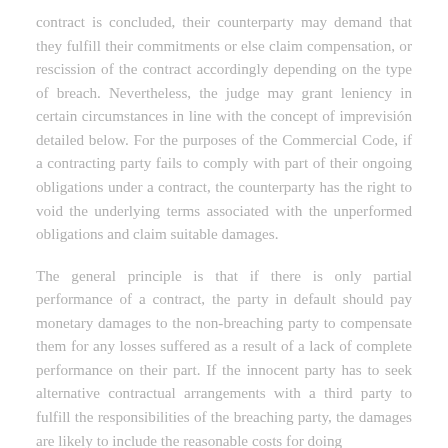contract is concluded, their counterparty may demand that they fulfill their commitments or else claim compensation, or rescission of the contract accordingly depending on the type of breach. Nevertheless, the judge may grant leniency in certain circumstances in line with the concept of imprevisión detailed below. For the purposes of the Commercial Code, if a contracting party fails to comply with part of their ongoing obligations under a contract, the counterparty has the right to void the underlying terms associated with the unperformed obligations and claim suitable damages.
The general principle is that if there is only partial performance of a contract, the party in default should pay monetary damages to the non-breaching party to compensate them for any losses suffered as a result of a lack of complete performance on their part. If the innocent party has to seek alternative contractual arrangements with a third party to fulfill the responsibilities of the breaching party, the damages are likely to include the reasonable costs for doing